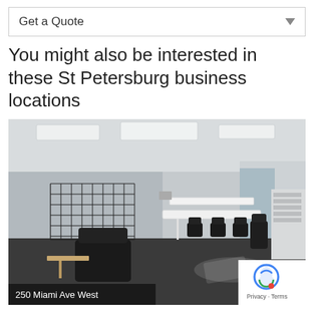Get a Quote
You might also be interested in these St Petersburg business locations
[Figure (photo): Interior photo of a coworking office space with black chairs, white tables, wire grid shelving, and a dark reflective floor. Address overlay reads '250 Miami Ave West'. A reCAPTCHA Privacy·Terms badge appears in the bottom right corner.]